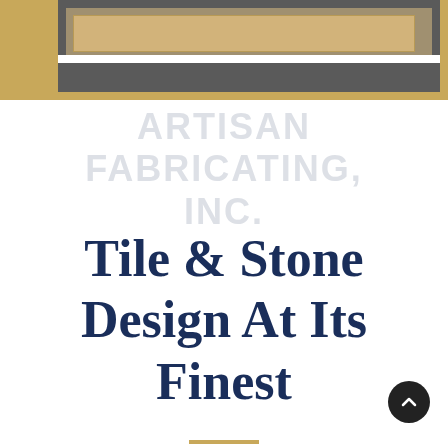[Figure (photo): Partial view of a stone or tile fabrication workspace with a large flat tile or stone slab on a worktable, set against a golden/tan background.]
ARTISAN FABRICATING, INC.
Tile & Stone Design At Its Finest